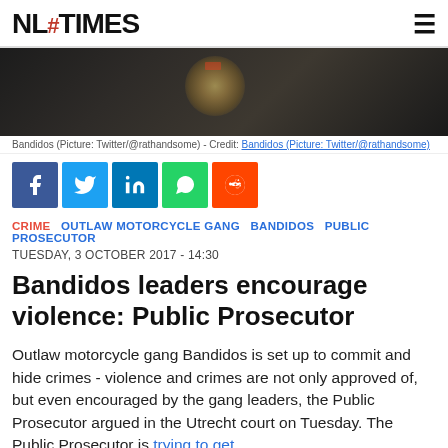NL# TIMES
[Figure (photo): Dark photo showing Bandidos motorcycle gang member wearing leather jacket with colorful patch/emblem]
Bandidos (Picture: Twitter/@rathandsome) - Credit: Bandidos (Picture: Twitter/@rathandsome)
[Figure (infographic): Social media sharing buttons: Facebook, Twitter, LinkedIn, WhatsApp, Reddit]
CRIME  OUTLAW MOTORCYCLE GANG  BANDIDOS  PUBLIC PROSECUTOR
TUESDAY, 3 OCTOBER 2017 - 14:30
Bandidos leaders encourage violence: Public Prosecutor
Outlaw motorcycle gang Bandidos is set up to commit and hide crimes - violence and crimes are not only approved of, but even encouraged by the gang leaders, the Public Prosecutor argued in the Utrecht court on Tuesday. The Public Prosecutor is trying to get Bandidos banned in the Netherlands. MC...